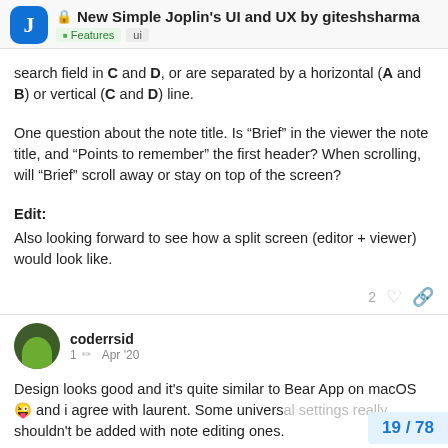New Simple Joplin's UI and UX by giteshsharma | Features | ui
search field in C and D, or are separated by a horizontal (A and B) or vertical (C and D) line.
One question about the note title. Is “Brief” in the viewer the note title, and “Points to remember” the first header? When scrolling, will “Brief” scroll away or stay on top of the screen?
Edit:
Also looking forward to see how a split screen (editor + viewer) would look like.
coderrsid | 1 | Apr '20
Design looks good and it's quite similar to Bear App on macOS 😜 and i agree with laurent. Some univers... shouldn't be added with note editing ones.